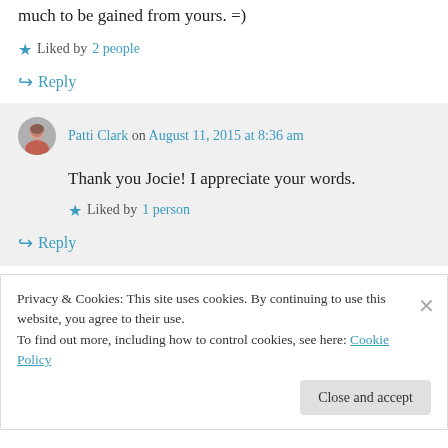much to be gained from yours. =)
Liked by 2 people
↪ Reply
Patti Clark on August 11, 2015 at 8:36 am
Thank you Jocie! I appreciate your words.
Liked by 1 person
↪ Reply
Privacy & Cookies: This site uses cookies. By continuing to use this website, you agree to their use. To find out more, including how to control cookies, see here: Cookie Policy
Close and accept